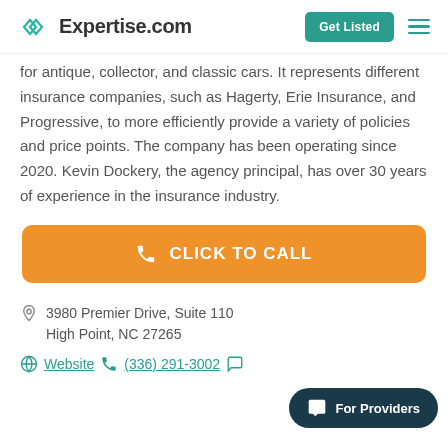Expertise.com — Get Listed
for antique, collector, and classic cars. It represents different insurance companies, such as Hagerty, Erie Insurance, and Progressive, to more efficiently provide a variety of policies and price points. The company has been operating since 2020. Kevin Dockery, the agency principal, has over 30 years of experience in the insurance industry.
CLICK TO CALL
3980 Premier Drive, Suite 110
High Point, NC 27265
Website  (336) 291-3002